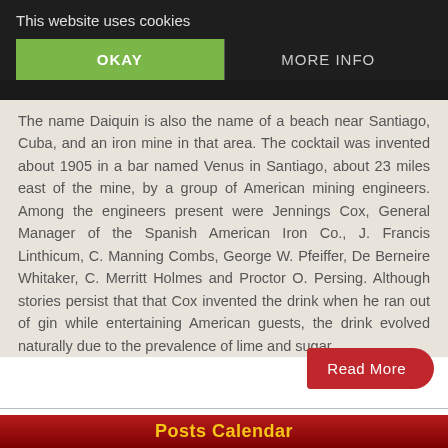This website uses cookies
OKAY
MORE INFO
The name Daiquin is also the name of a beach near Santiago, Cuba, and an iron mine in that area. The cocktail was invented about 1905 in a bar named Venus in Santiago, about 23 miles east of the mine, by a group of American mining engineers. Among the engineers present were Jennings Cox, General Manager of the Spanish American Iron Co., J. Francis Linthicum, C. Manning Combs, George W. Pfeiffer, De Berneire Whitaker, C. Merritt Holmes and Proctor O. Persing. Although stories persist that that Cox invented the drink when he ran out of gin while entertaining American guests, the drink evolved naturally due to the prevalence of lime and sugar.
Read More
Posts Calendar